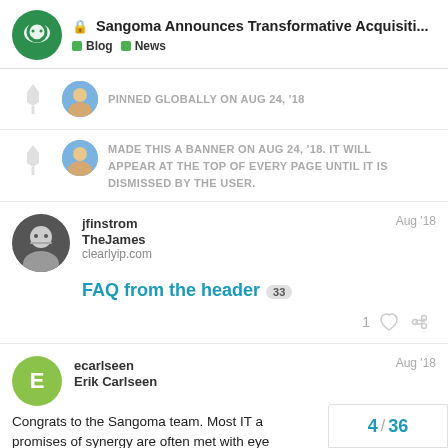Sangoma Announces Transformative Acquisiti... Blog News
PINNED GLOBALLY ON AUG 24, '18
MADE THIS A BANNER ON AUG 24, '18. IT WILL APPEAR AT THE TOP OF EVERY PAGE UNTIL IT IS DISMISSED BY THE USER.
jfinstrom TheJames clearlyip.com Aug '18
FAQ from the header 33
1
ecarlseen Erik Carlseen Aug '18
Congrats to the Sangoma team. Most IT a promises of synergy are often met with eye
4 / 36